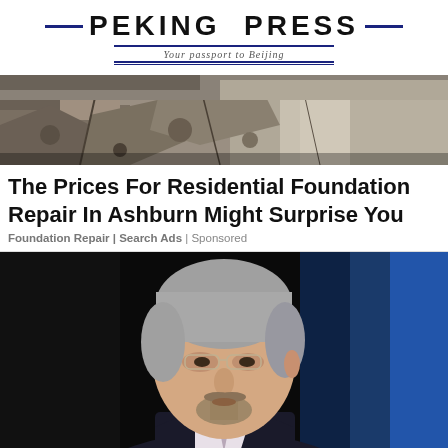PEKING PRESS — Your passport to Beijing
[Figure (photo): Construction/foundation damage photo banner showing cracked concrete and earth]
The Prices For Residential Foundation Repair In Ashburn Might Surprise You
Foundation Repair | Search Ads | Sponsored
[Figure (photo): Gray-haired man in dark suit with glasses speaking, dark background with blue lighting]